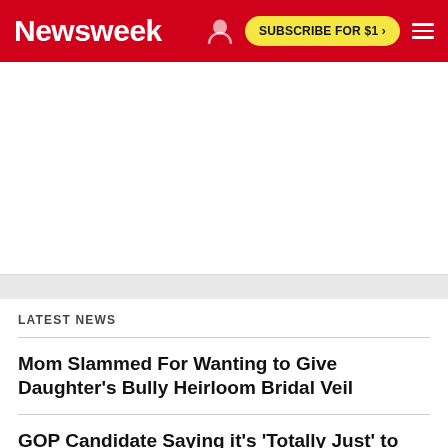Newsweek | SUBSCRIBE FOR $1 >
[Figure (other): Advertisement/blank white space area]
LATEST NEWS
Mom Slammed For Wanting to Give Daughter's Bully Heirloom Bridal Veil
GOP Candidate Saying it's 'Totally Just' to Kill Gay People…